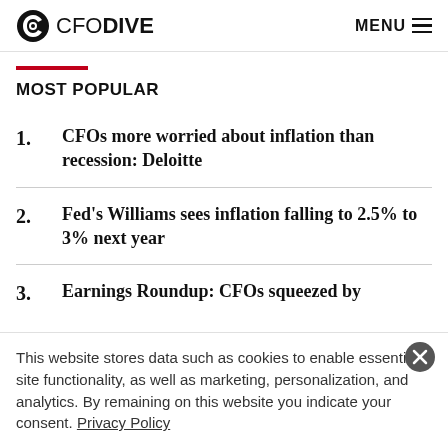CFO DIVE  MENU
MOST POPULAR
1. CFOs more worried about inflation than recession: Deloitte
2. Fed's Williams sees inflation falling to 2.5% to 3% next year
3. Earnings Roundup: CFOs squeezed by
This website stores data such as cookies to enable essential site functionality, as well as marketing, personalization, and analytics. By remaining on this website you indicate your consent. Privacy Policy